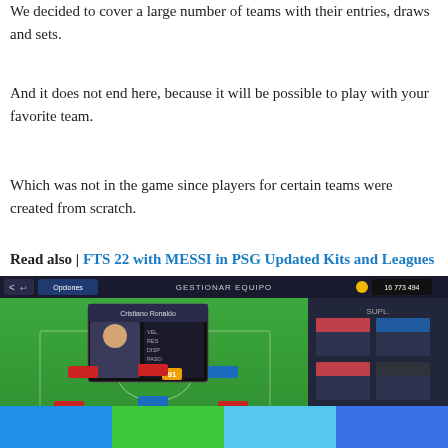We decided to cover a large number of teams with their entries, draws and sets.
And it does not end here, because it will be possible to play with your favorite team.
Which was not in the game since players for certain teams were created from scratch.
Read also | FTS 22 with MESSI in PSG Updated Kits and Leagues
[Figure (screenshot): Mobile football game screenshot showing team management screen (GESTIONAR EQUIPO) with player cards on a green pitch, and a substitute panel on the right showing additional player cards. Currency shown: 16 773 494.]
[Figure (other): Footer bar with four colored segments: blue, green, light blue, dark blue.]